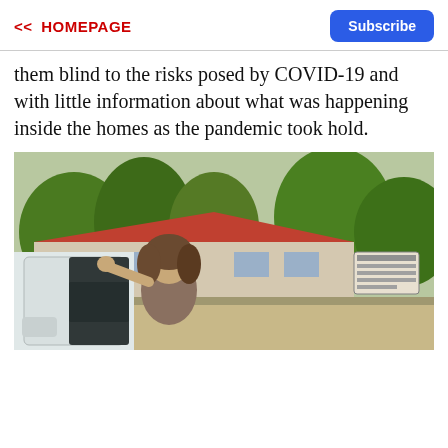<< HOMEPAGE
them blind to the risks posed by COVID-19 and with little information about what was happening inside the homes as the pandemic took hold.
[Figure (photo): A middle-aged woman with short brown hair standing beside a white vehicle with the door open, in a parking lot with a building featuring a red roof and green trees in the background.]
...